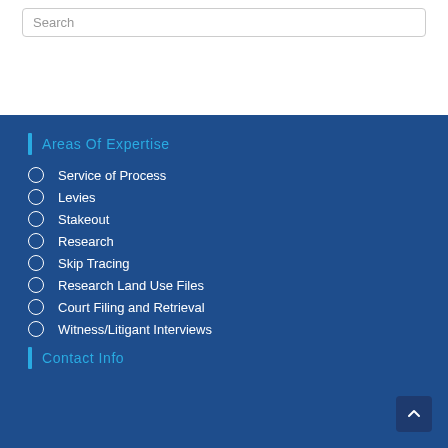Search
Areas Of Expertise
Service of Process
Levies
Stakeout
Research
Skip Tracing
Research Land Use Files
Court Filing and Retrieval
Witness/Litigant Interviews
Contact Info